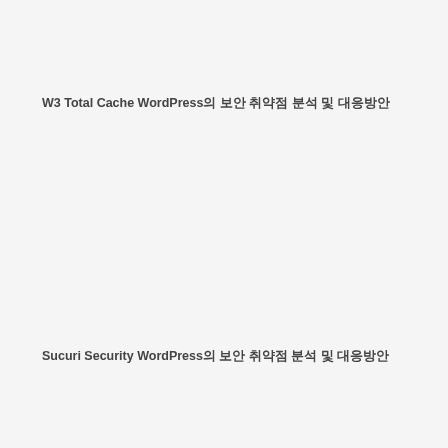W3 Total Cache WordPress플러그인의 보안 취약점 분석 및 대응방안
Sucuri Security WordPress플러그인의 보안 취약점 분석 및 대응방안